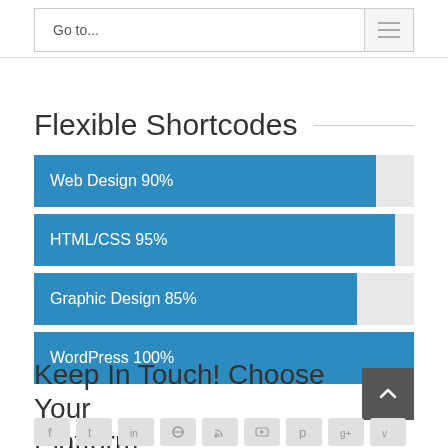Go to...
Flexible Shortcodes
[Figure (bar-chart): Skills]
Keep In Touch! Choose Your Platform!